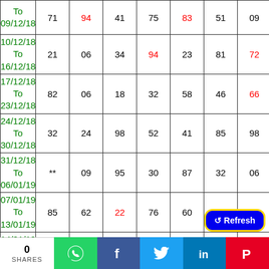| Date | Col1 | Col2 | Col3 | Col4 | Col5 | Col6 | Col7 |
| --- | --- | --- | --- | --- | --- | --- | --- |
| To 09/12/18 | 71 | 94 | 41 | 75 | 83 | 51 | 09 |
| 10/12/18 To 16/12/18 | 21 | 06 | 34 | 94 | 23 | 81 | 72 |
| 17/12/18 To 23/12/18 | 82 | 06 | 18 | 32 | 58 | 46 | 66 |
| 24/12/18 To 30/12/18 | 32 | 24 | 98 | 52 | 41 | 85 | 98 |
| 31/12/18 To 06/01/19 | ** | 09 | 95 | 30 | 87 | 32 | 06 |
| 07/01/19 To 13/01/19 | 85 | 62 | 22 | 76 | 60 | 64 | 59 |
| 14/01/19 To 20/01/19 | 01 | 14 | 78 | 02 | 04 | 70 | 34 |
| 21/01/19 To ... | 33 | 63 | 01 | 74 | 61 | 91 | 24 |